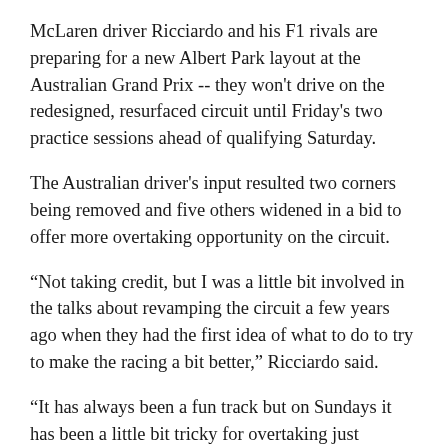McLaren driver Ricciardo and his F1 rivals are preparing for a new Albert Park layout at the Australian Grand Prix -- they won't drive on the redesigned, resurfaced circuit until Friday's two practice sessions ahead of qualifying Saturday.
The Australian driver's input resulted two corners being removed and five others widened in a bid to offer more overtaking opportunity on the circuit.
“Not taking credit, but I was a little bit involved in the talks about revamping the circuit a few years ago when they had the first idea of what to do to try to make the racing a bit better,” Ricciardo said.
“It has always been a fun track but on Sundays it has been a little bit tricky for overtaking just through the layout and the nature of it. As a race now you’re going to see a totally different Sunday here in Melbourne.”
Defending F1 series champion Max Verstappen, who